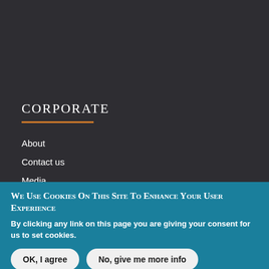CORPORATE
About
Contact us
Media
WE USE COOKIES ON THIS SITE TO ENHANCE YOUR USER EXPERIENCE
By clicking any link on this page you are giving your consent for us to set cookies.
OK, I agree | No, give me more info